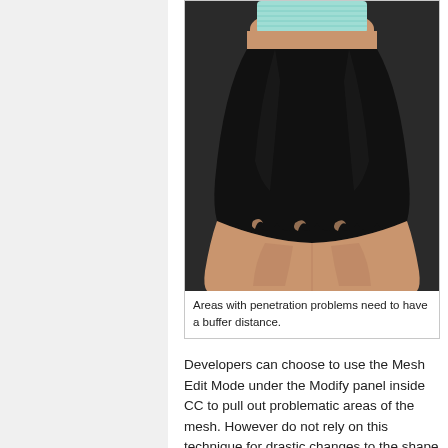[Figure (photo): 3D render of a character wearing a black mini skirt over skin-toned legs with a light blue ribbed top visible at top. The skirt shows cloth penetration/clipping issues at the bottom hem.]
Areas with penetration problems need to have a buffer distance.
Developers can choose to use the Mesh Edit Mode under the Modify panel inside CC to pull out problematic areas of the mesh. However do not rely on this technique for drastic changes to the shape of the clothing as drastic edits can lead to problems with the skinning and